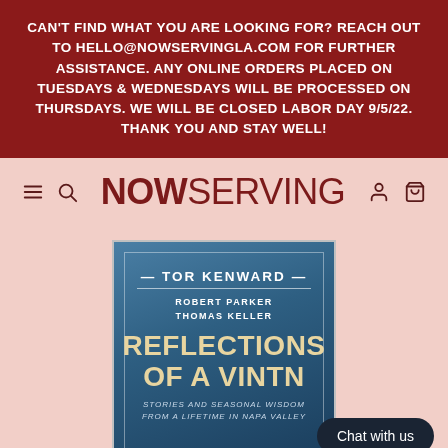CAN'T FIND WHAT YOU ARE LOOKING FOR? REACH OUT TO HELLO@NOWSERVINGLA.COM FOR FURTHER ASSISTANCE. ANY ONLINE ORDERS PLACED ON TUESDAYS & WEDNESDAYS WILL BE PROCESSED ON THURSDAYS. WE WILL BE CLOSED LABOR DAY 9/5/22. THANK YOU AND STAY WELL!
[Figure (logo): NOW SERVING logo with hamburger menu, search, user, and cart icons on a pink background]
[Figure (photo): Book cover: Reflections of a Vintner by Tor Kenward, with foreword by Robert Parker and Thomas Keller. Blue gradient background with gold/cream title text. Subtitle: Stories and Seasonal Wisdom from a Lifetime in Napa Valley. Partially obscured by Chat with us button.]